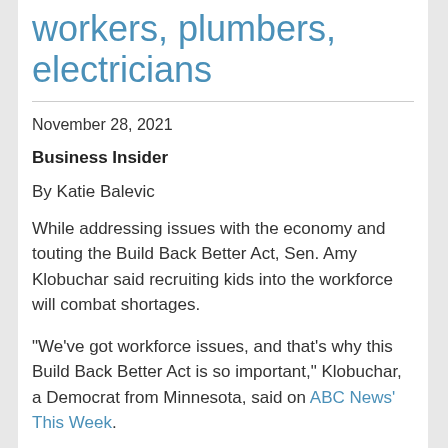workers, plumbers, electricians
November 28, 2021
Business Insider
By Katie Balevic
While addressing issues with the economy and touting the Build Back Better Act, Sen. Amy Klobuchar said recruiting kids into the workforce will combat shortages.
"We've got workforce issues, and that's why this Build Back Better Act is so important," Klobuchar, a Democrat from Minnesota, said on ABC News' This Week.